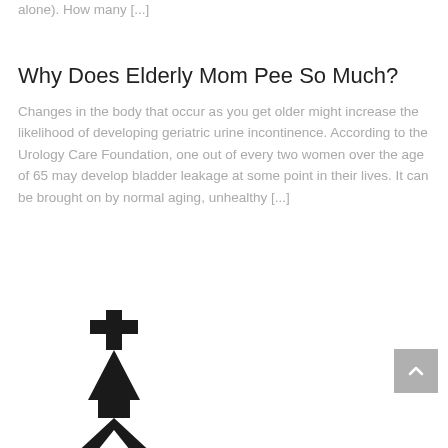alone). How many [...]
Why Does Elderly Mom Pee So Much?
Changes in the body that occur as you get older might increase the likelihood of developing geriatric urine incontinence. According to the Urology Care Foundation, one out of every two women over the age of 65 may develop bladder leakage at some point in their lives. It can be brought on by normal aging, unhealthy [...]
[Figure (illustration): Black silhouette icon of a church building with a cross on top, a steeple, arched roof lines and a circular window.]